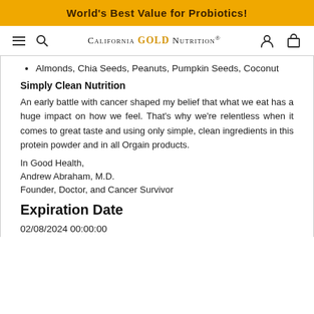World's Best Value for Probiotics!
[Figure (screenshot): California Gold Nutrition website navigation bar with hamburger menu, search icon, logo, user account icon, and shopping bag icon]
Almonds, Chia Seeds, Peanuts, Pumpkin Seeds, Coconut
Simply Clean Nutrition
An early battle with cancer shaped my belief that what we eat has a huge impact on how we feel. That's why we're relentless when it comes to great taste and using only simple, clean ingredients in this protein powder and in all Orgain products.
In Good Health,
Andrew Abraham, M.D.
Founder, Doctor, and Cancer Survivor
Expiration Date
02/08/2024 00:00:00